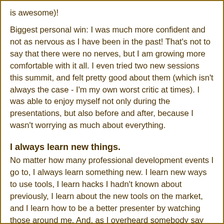is awesome)!
Biggest personal win: I was much more confident and not as nervous as I have been in the past! That's not to say that there were no nerves, but I am growing more comfortable with it all. I even tried two new sessions this summit, and felt pretty good about them (which isn't always the case - I'm my own worst critic at times). I was able to enjoy myself not only during the presentations, but also before and after, because I wasn't worrying as much about everything.
I always learn new things.
No matter how many professional development events I go to, I always learn something new. I learn new ways to use tools, I learn hacks I hadn't known about previously, I learn about the new tools on the market, and I learn how to be a better presenter by watching those around me. And, as I overheard somebody say before we started the second morning, this is good professional development! It includes choice for the participants, isn't just "sit-n-get", and it is about relevant topics. As a person who leads a lot of PD, I appreciate the times when I am able to be a learner